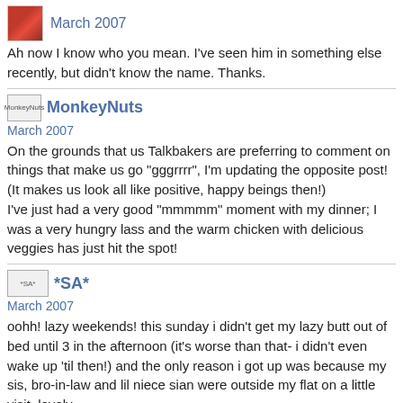[Figure (photo): Small red flower avatar image]
March 2007
Ah now I know who you mean. I've seen him in something else recently, but didn't know the name. Thanks.
[Figure (photo): MonkeyNuts avatar image with text]
MonkeyNuts
March 2007
On the grounds that us Talkbakers are preferring to comment on things that make us go "gggrrrr", I'm updating the opposite post! (It makes us look all like positive, happy beings then!)
I've just had a very good "mmmmm" moment with my dinner; I was a very hungry lass and the warm chicken with delicious veggies has just hit the spot!
[Figure (photo): *SA* avatar image with text]
*SA*
March 2007
oohh! lazy weekends! this sunday i didn't get my lazy butt out of bed until 3 in the afternoon (it's worse than that- i didn't even wake up 'til then!) and the only reason i got up was because my sis, bro-in-law and lil niece sian were outside my flat on a little visit. lovely.